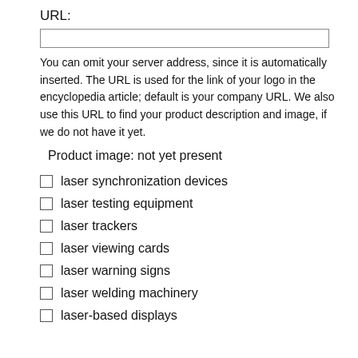URL:
You can omit your server address, since it is automatically inserted. The URL is used for the link of your logo in the encyclopedia article; default is your company URL. We also use this URL to find your product description and image, if we do not have it yet.
Product image: not yet present
laser synchronization devices
laser testing equipment
laser trackers
laser viewing cards
laser warning signs
laser welding machinery
laser-based displays